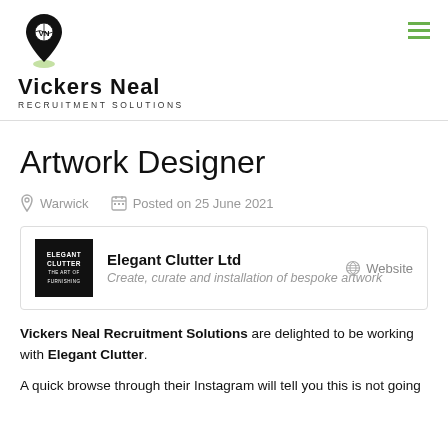Vickers Neal RECRUITMENT SOLUTIONS
Artwork Designer
Warwick   Posted on 25 June 2021
Elegant Clutter Ltd
Create, curate and installation of bespoke artwork
Website
Vickers Neal Recruitment Solutions are delighted to be working with Elegant Clutter.
A quick browse through their Instagram will tell you this is not going